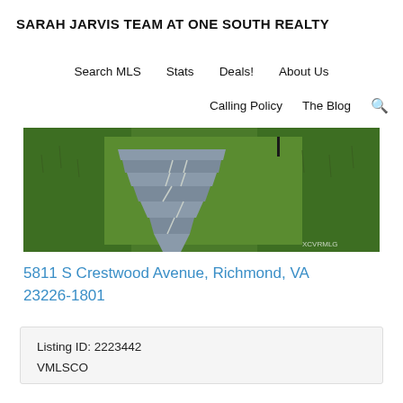SARAH JARVIS TEAM AT ONE SOUTH REALTY
Search MLS   Stats   Deals!   About Us
Calling Policy   The Blog   🔍
[Figure (photo): Exterior photo of property showing a stone/slate stepping stone path through green grass lawn, with landscaping visible in background. XCVRMLG watermark in bottom-right corner.]
5811 S Crestwood Avenue, Richmond, VA 23226-1801
| Listing ID: 2223442 |
| VMLSCO |